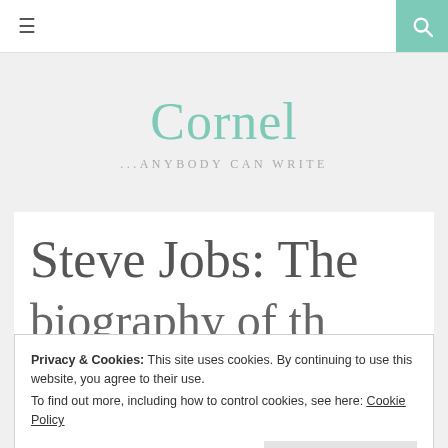≡  [search icon]
Cornel
...ANYBODY CAN WRITE
Steve Jobs: The [biography of the...] innovative human
Privacy & Cookies: This site uses cookies. By continuing to use this website, you agree to their use.
To find out more, including how to control cookies, see here: Cookie Policy
Close and accept